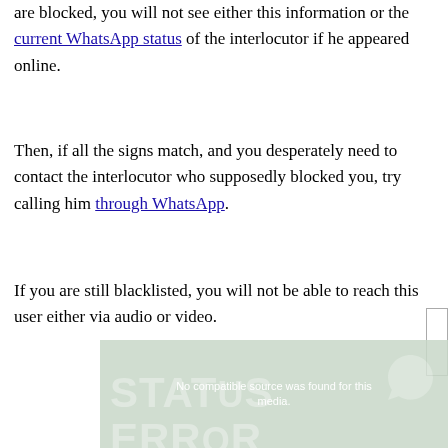are blocked, you will not see either this information or the current WhatsApp status of the interlocutor if he appeared online.
Then, if all the signs match, and you desperately need to contact the interlocutor who supposedly blocked you, try calling him through WhatsApp.
If you are still blacklisted, you will not be able to reach this user either via audio or video.
[Figure (screenshot): Video player error screenshot showing 'No compatible source was found for this media.' overlaid on a background with large faded text 'STATUS ERROR' and a WhatsApp-style icon]